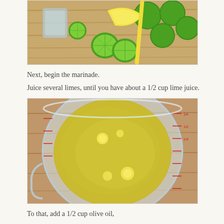[Figure (photo): Overhead view of limes, lemon wedge, and citrus juicer on a wooden cutting board]
Next, begin the marinade.
Juice several limes, until you have about a 1/2 cup lime juice.
[Figure (photo): Overhead view of lime juice in a glass measuring cup on a wooden surface, showing yellow-green liquid]
To that, add a 1/2 cup olive oil,